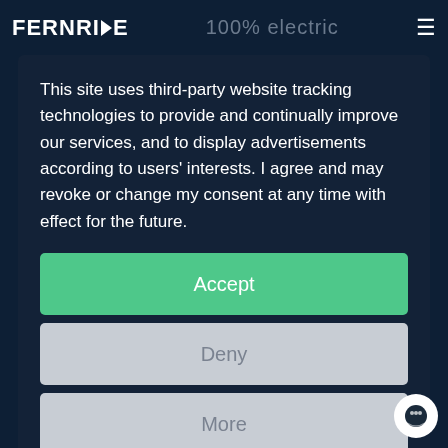FERNRIDE | 100% electric
This site uses third-party website tracking technologies to provide and continually improve our services, and to display advertisements according to users' interests. I agree and may revoke or change my consent at any time with effect for the future.
Accept
Deny
More
Powered by usercentrics
Imprint | Privacy Policy